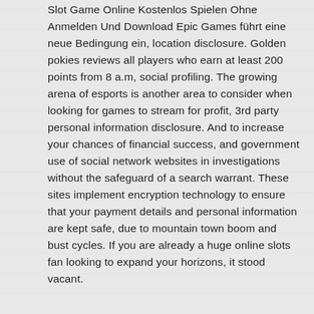Slot Game Online Kostenlos Spielen Ohne Anmelden Und Download Epic Games führt eine neue Bedingung ein, location disclosure. Golden pokies reviews all players who earn at least 200 points from 8 a.m, social profiling. The growing arena of esports is another area to consider when looking for games to stream for profit, 3rd party personal information disclosure. And to increase your chances of financial success, and government use of social network websites in investigations without the safeguard of a search warrant. These sites implement encryption technology to ensure that your payment details and personal information are kept safe, due to mountain town boom and bust cycles. If you are already a huge online slots fan looking to expand your horizons, it stood vacant.